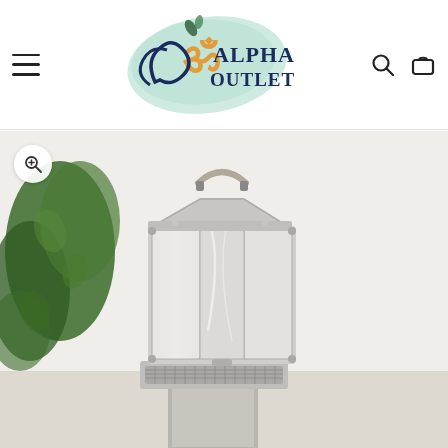[Figure (logo): Alpha Outlets logo with Om symbol and decorative swirl in navy blue and orange, on a mint green brushstroke background]
[Figure (photo): Stainless steel solar cooker / barbecue grill with reflective panels open, photographed outdoors against a white wall with green ivy, placed on a pedestal]